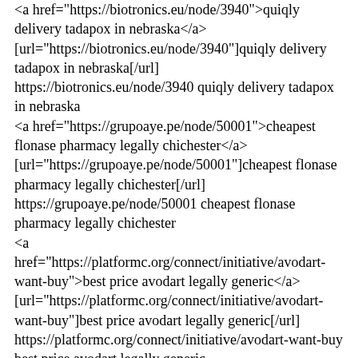<a href="https://biotronics.eu/node/3940">quiqly delivery tadapox in nebraska</a> [url="https://biotronics.eu/node/3940"]quiqly delivery tadapox in nebraska[/url] https://biotronics.eu/node/3940 quiqly delivery tadapox in nebraska <a href="https://grupoaye.pe/node/50001">cheapest flonase pharmacy legally chichester</a> [url="https://grupoaye.pe/node/50001"]cheapest flonase pharmacy legally chichester[/url] https://grupoaye.pe/node/50001 cheapest flonase pharmacy legally chichester <a href="https://platformc.org/connect/initiative/avodart-want-buy">best price avodart legally generic</a> [url="https://platformc.org/connect/initiative/avodart-want-buy"]best price avodart legally generic[/url] https://platformc.org/connect/initiative/avodart-want-buy best price avodart legally generic <a href="https://verhalenmakers.com/en/node/7745">can i purchase hytrin</a> [url="https://verhalenmakers.com/en/node/7745"]can i purchase hytrin[/url] https://verhalenmakers.com/en/node/7745 can i purchase hytrin